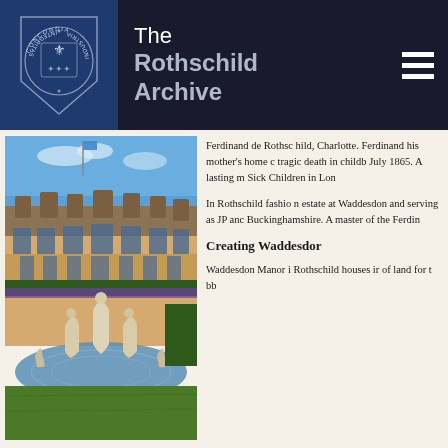The Rothschild Archive
[Figure (photo): Waddesdon Manor with baroque fountain featuring statues in a pool, blue sky with flag, ornate French Renaissance-style mansion in background]
Ferdinand de Rothschild, Charlotte. Ferdinand his mother's home c tragic death in childb July 1865. A lasting m Sick Children in Lon
In Rothschild fashio estate at Waddesdor and serving as JP anc Buckinghamshire. A master of the Ferdin
Creating Waddesdor
Waddesdon Manor i Rothschild houses ir of land for t bb